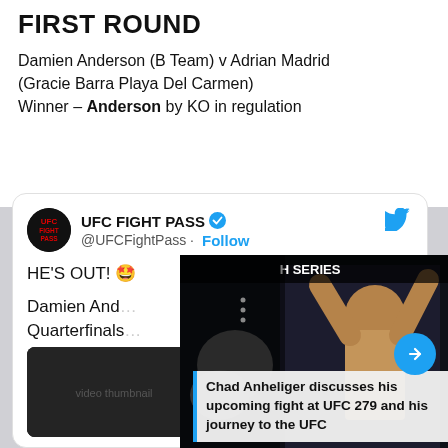FIRST ROUND
Damien Anderson (B Team) v Adrian Madrid (Gracie Barra Playa Del Carmen)
Winner – Anderson by KO in regulation
UFC FIGHT PASS @UFCFightPass · Follow
HE'S OUT! 🤩

Damien And… Quarterfinals…

[ #CJJW | LI… #UFCFIGHT…
[Figure (screenshot): Screenshot of a UFC fight video showing a fighter celebrating with arms raised, overlay shows 'H SERIES' banner]
Chad Anheliger discusses his upcoming fight at UFC 279 and his journey to the UFC